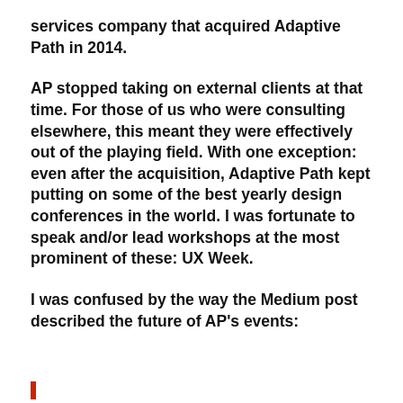services company that acquired Adaptive Path in 2014.
AP stopped taking on external clients at that time. For those of us who were consulting elsewhere, this meant they were effectively out of the playing field. With one exception: even after the acquisition, Adaptive Path kept putting on some of the best yearly design conferences in the world. I was fortunate to speak and/or lead workshops at the most prominent of these: UX Week.
I was confused by the way the Medium post described the future of AP's events: